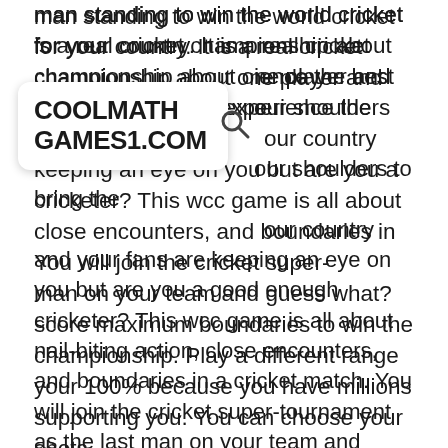[Figure (logo): COOLMATH GAMES1.COM logo with search icon on white rounded rectangle overlay]
man standing to win the world cricket for your country. It is a real cricket championship about one player and that's you. You will experience the best cricket game ...our shoulders to bring the ...our country and your fans are keeping an eye on you but are you a good enough cricketer? This wcc game is all about nail-biting action, close encounters, and boundaries in a cricket match. You will join the cricket super-tournament as the last man on your team and guess what? You will have to score maximum boundaries to win the cricket championship. Play a different range of shots to give your 100% because you have millions of cricket fans supporting you. You can choose your favorite team in the latest “Last Man Cricket World Cup”, rename and also battle 2 opponents of your choice. Last Man Cricket World Cup has a 2D Environment, seventeen teams, and of course, some crazy action. Mobile cricket Game has no complex controls, smash world hitting shots...